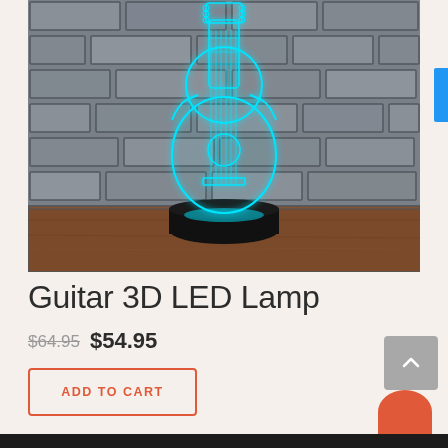[Figure (photo): 3D LED guitar lamp glowing cyan/teal, displayed on a wooden surface against a gray stone brick wall background. The lamp has a black round base and the guitar silhouette is illuminated in blue-green light.]
Guitar 3D LED Lamp
$64.95 $54.95
ADD TO CART